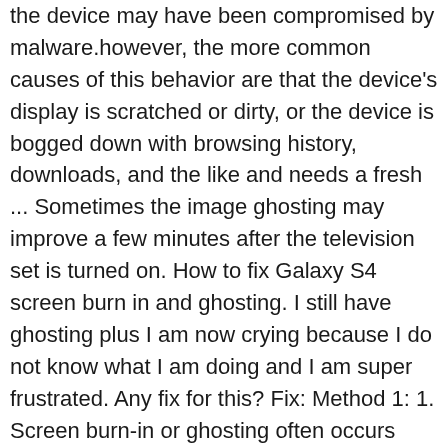the device may have been compromised by malware.however, the more common causes of this behavior are that the device's display is scratched or dirty, or the device is bogged down with browsing history, downloads, and the like and needs a fresh ... Sometimes the image ghosting may improve a few minutes after the television set is turned on. How to fix Galaxy S4 screen burn in and ghosting. I still have ghosting plus I am now crying because I do not know what I am doing and I am super frustrated. Any fix for this? Fix: Method 1: 1. Screen burn-in or ghosting often occurs after letting a device display the same static image for a long time. LED panels used in the X220 system use In Plane Switching (IPS) technology to provide optimum viewing angles and clarity. Don't bother with this forum, it's a complete waste of time. Wait for the screen to dry, turn on the computer and try using the touch screen again. So by fixing this ... Thanks in advance for any help or time spent reading this. Not sure of correct term, but my screen seems to always show keyboard or other images faintly in background. Use a Phillips #000 screwdriver to remove the